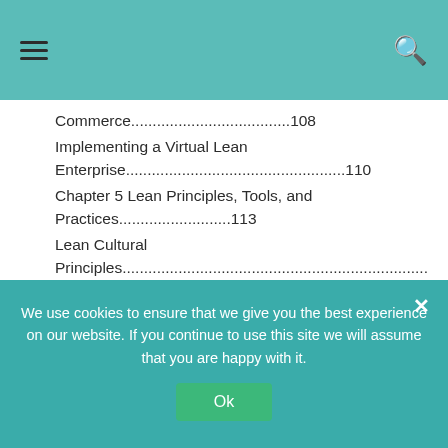≡  🔍
Commerce.....................................108
Implementing a Virtual Lean Enterprise...................................................110
Chapter 5 Lean Principles, Tools, and Practices..........................113
Lean Cultural Principles......................................................................…...113
Process-Oriented Thinking Means What Before How.......................... 115
We use cookies to ensure that we give you the best experience on our website. If you continue to use this site we will assume that you are happy with it.
Ok